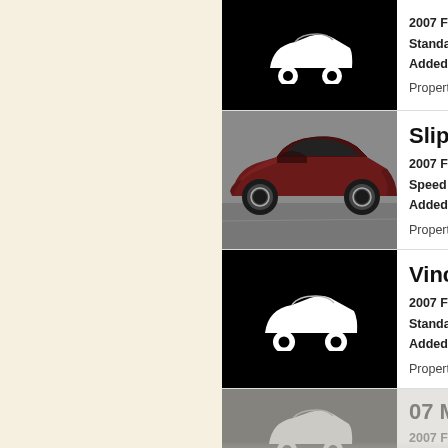[Figure (screenshot): Car listing app UI showing four vehicle entries. Each row has a thumbnail image on the left and vehicle details on the right. Row 1: placeholder car icon on black background, 2007 Ford Mu[stang] Standard 5 Sp[eed], Added Sep 20[..], Property of [user icon]. Row 2 (Slippy): photo of dark red Ford Mustang on track, 2007 Ford Mu[stang] Speed Coupe, Added Oct 20[..], Property of [user icon]. Row 3 (Vince Elli[s]): placeholder car icon on black background, 2007 Ford Mu[stang] Standard Cou[pe], Added Apr 20[..], Property of [user icon]. Row 4 (07 Musta[ng]): placeholder car icon on black background (partially visible/faded), 2007 Ford Mu[stang] Speed, Added Aug 2[..], Property of [..] — partially cut off.]